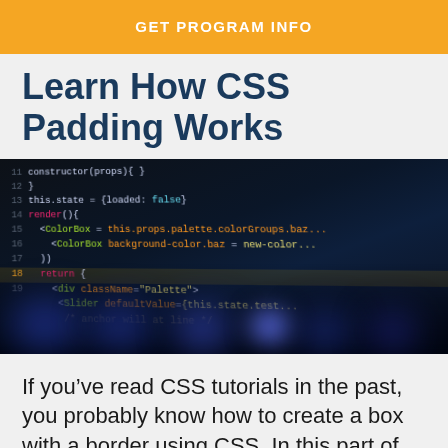GET PROGRAM INFO
Learn How CSS Padding Works
[Figure (photo): A dark monitor screen displaying colorful code in a code editor, with line numbers visible on the left side. Blue glowing lights are visible at the bottom, suggesting keyboard backlighting.]
If you’ve read CSS tutorials in the past, you probably know how to create a box with a border using CSS. In this part of the CSS tutorials series, you will learn why CSS padding